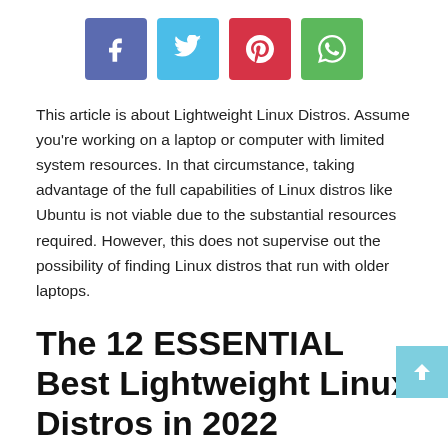[Figure (other): Social sharing buttons: Facebook (blue-purple), Twitter (light blue), Pinterest (red), WhatsApp (green)]
This article is about Lightweight Linux Distros. Assume you're working on a laptop or computer with limited system resources. In that circumstance, taking advantage of the full capabilities of Linux distros like Ubuntu is not viable due to the substantial resources required. However, this does not supervise out the possibility of finding Linux distros that run with older laptops.
The 12 ESSENTIAL Best Lightweight Linux Distros in 2022
In this article, you may know about the Lightweight Linux